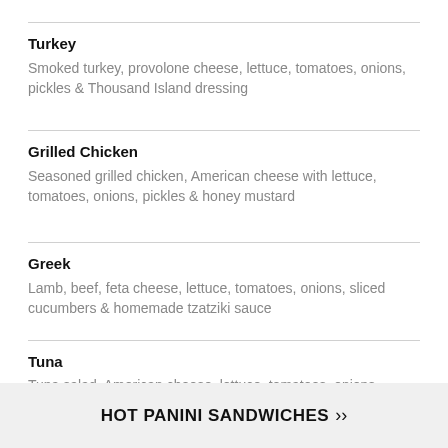Turkey
Smoked turkey, provolone cheese, lettuce, tomatoes, onions, pickles & Thousand Island dressing
Grilled Chicken
Seasoned grilled chicken, American cheese with lettuce, tomatoes, onions, pickles & honey mustard
Greek
Lamb, beef, feta cheese, lettuce, tomatoes, onions, sliced cucumbers & homemade tzatziki sauce
Tuna
Tuna salad, American cheese, lettuce, tomatoes, onions, pickles & mayo
HOT PANINI SANDWICHES